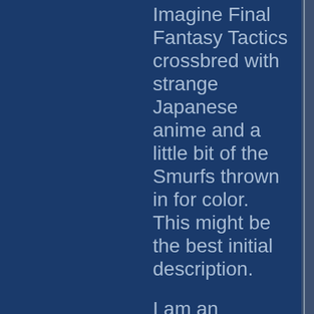Imagine Final Fantasy Tactics crossbred with strange Japanese anime and a little bit of the Smurfs thrown in for color. This might be the best initial description.
I am an MMORPG veteran, logging more time than I care